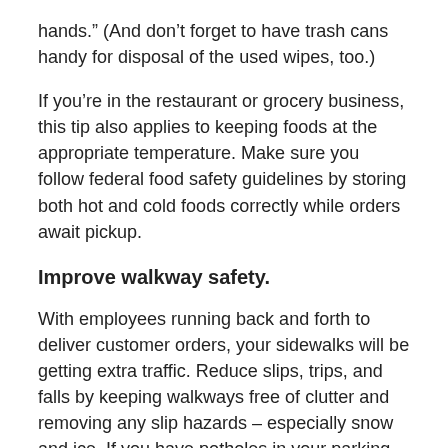hands." (And don't forget to have trash cans handy for disposal of the used wipes, too.)
If you're in the restaurant or grocery business, this tip also applies to keeping foods at the appropriate temperature. Make sure you follow federal food safety guidelines by storing both hot and cold foods correctly while orders await pickup.
Improve walkway safety.
With employees running back and forth to deliver customer orders, your sidewalks will be getting extra traffic. Reduce slips, trips, and falls by keeping walkways free of clutter and removing any slip hazards – especially snow and ice. If you have potholes in your parking lot or damaged parts of your sidewalk, consider getting them repaired. And make good use of entrance mats and wet floor signs, too.
Check your insurance protection.